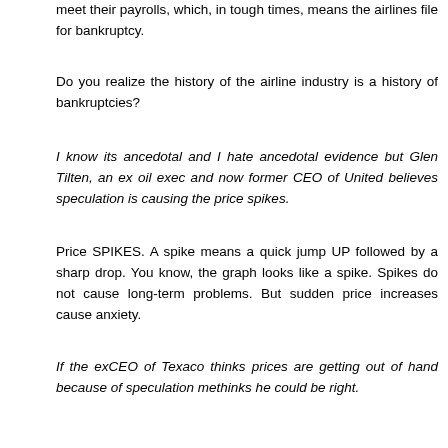meet their payrolls, which, in tough times, means the airlines file for bankruptcy.
Do you realize the history of the airline industry is a history of bankruptcies?
I know its ancedotal and I hate ancedotal evidence but Glen Tilten, an ex oil exec and now former CEO of United believes speculation is causing the price spikes.
Price SPIKES. A spike means a quick jump UP followed by a sharp drop. You know, the graph looks like a spike. Spikes do not cause long-term problems. But sudden price increases cause anxiety.
If the exCEO of Texaco thinks prices are getting out of hand because of speculation methinks he could be right.
The risk to the economy comes from SUSTAINED higher prices -- not SPIKES.
As we all know, if government gets out of the way and allows energy companies to exploit the most prolific oil